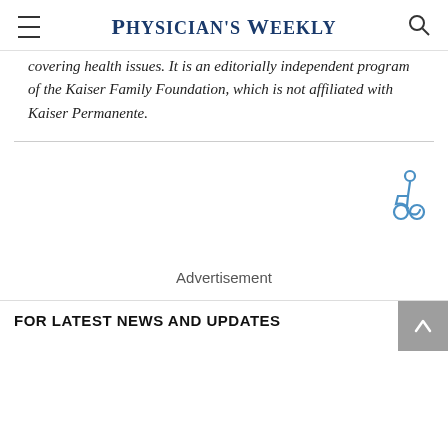Physician's Weekly
covering health issues. It is an editorially independent program of the Kaiser Family Foundation, which is not affiliated with Kaiser Permanente.
Advertisement
FOR LATEST NEWS AND UPDATES